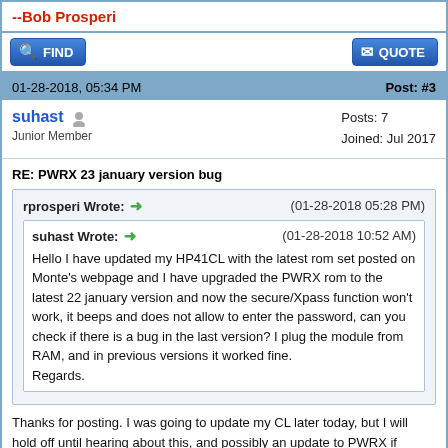--Bob Prosperi
[Figure (screenshot): FIND and QUOTE buttons]
01-28-2018, 05:34 PM	Post: #3
suhast
Junior Member
Posts: 7
Joined: Jul 2017
RE: PWRX 23 january version bug
rprosperi Wrote: → (01-28-2018 05:28 PM)

suhast Wrote: → (01-28-2018 10:52 AM)
Hello I have updated my HP41CL with the latest rom set posted on Monte's webpage and I have upgraded the PWRX rom to the latest 22 january version and now the secure/Xpass function won't work, it beeps and does not allow to enter the password, can you check if there is a bug in the last version? I plug the module from RAM, and in previous versions it worked fine.
Regards.
Thanks for posting. I was going to update my CL later today, but I will hold off until hearing about this, and possibly an update to PWRX if needed.